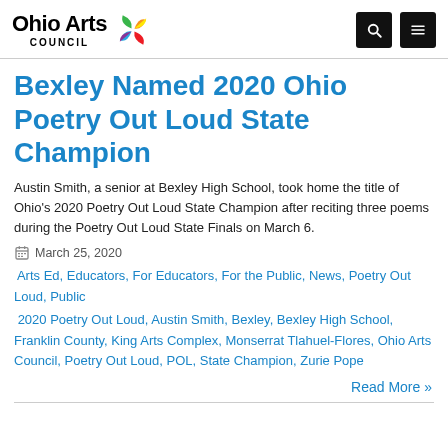Ohio Arts Council
Bexley Named 2020 Ohio Poetry Out Loud State Champion
Austin Smith, a senior at Bexley High School, took home the title of Ohio's 2020 Poetry Out Loud State Champion after reciting three poems during the Poetry Out Loud State Finals on March 6.
March 25, 2020
Arts Ed, Educators, For Educators, For the Public, News, Poetry Out Loud, Public
2020 Poetry Out Loud, Austin Smith, Bexley, Bexley High School, Franklin County, King Arts Complex, Monserrat Tlahuel-Flores, Ohio Arts Council, Poetry Out Loud, POL, State Champion, Zurie Pope
Read More »